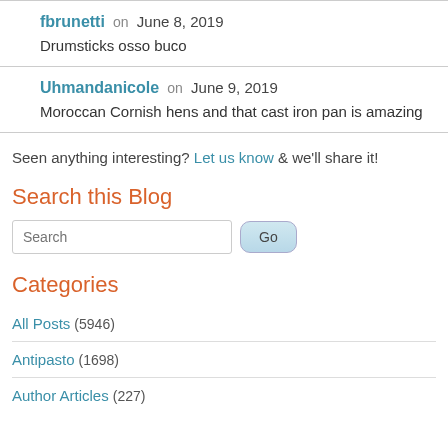fbrunetti on June 8, 2019
Drumsticks osso buco
Uhmandanicole on June 9, 2019
Moroccan Cornish hens and that cast iron pan is amazing
Seen anything interesting? Let us know & we'll share it!
Search this Blog
Categories
All Posts (5946)
Antipasto (1698)
Author Articles (227)